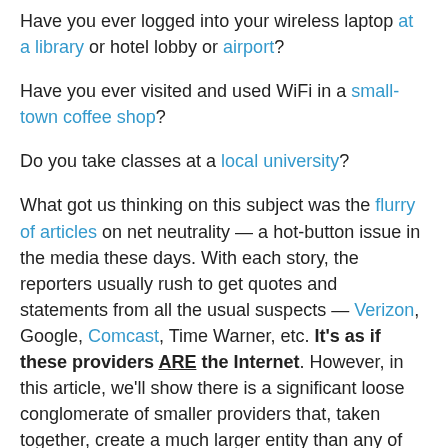Have you ever logged into your wireless laptop at a library or hotel lobby or airport?
Have you ever visited and used WiFi in a small-town coffee shop?
Do you take classes at a local university?
What got us thinking on this subject was the flurry of articles on net neutrality — a hot-button issue in the media these days. With each story, the reporters usually rush to get quotes and statements from all the usual suspects — Verizon, Google, Comcast, Time Warner, etc. It's as if these providers ARE the Internet. However, in this article, we'll show there is a significant loose conglomerate of smaller providers that, taken together, create a much larger entity than any of these traditional players.